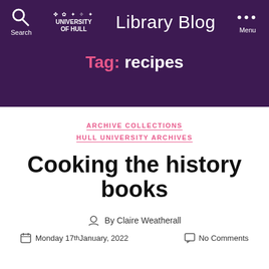University of Hull Library Blog
Tag: recipes
ARCHIVE COLLECTIONS
HULL UNIVERSITY ARCHIVES
Cooking the history books
By Claire Weatherall
Monday 17th January, 2022  No Comments